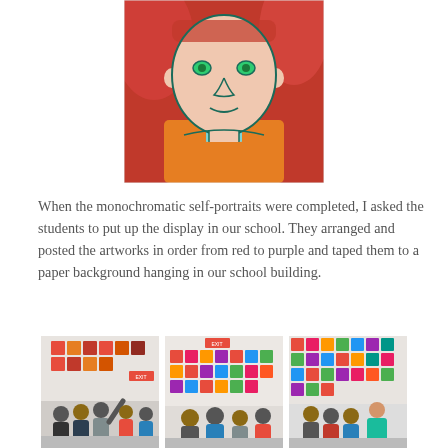[Figure (photo): Child's monochromatic self-portrait painting showing a face with green eyes and teal outlines against an orange-red background with orange clothing and a bow tie]
When the monochromatic self-portraits were completed, I asked the students to put up the display in our school. They arranged and posted the artworks in order from red to purple and taped them to a paper background hanging in our school building.
[Figure (photo): Students standing with backs to camera, putting up colorful self-portrait artworks on a wall display]
[Figure (photo): Students arranging rows of self-portrait artworks on a wall below an EXIT sign]
[Figure (photo): Students viewing a completed colorful grid display of self-portraits on a wall, with a teacher in a teal shirt]